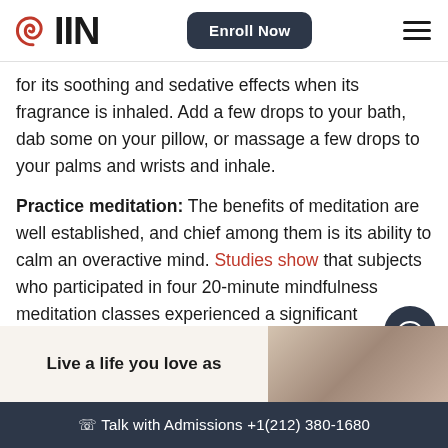IIN — Enroll Now
for its soothing and sedative effects when its fragrance is inhaled. Add a few drops to your bath, dab some on your pillow, or massage a few drops to your palms and wrists and inhale.
Practice meditation: The benefits of meditation are well established, and chief among them is its ability to calm an overactive mind. Studies show that subjects who participated in four 20-minute mindfulness meditation classes experienced a significant reduction of anxiety in every session. Even just a few minutes of meditation can have an enormous impact!
Live a life you love as
Talk with Admissions +1(212) 380-1680